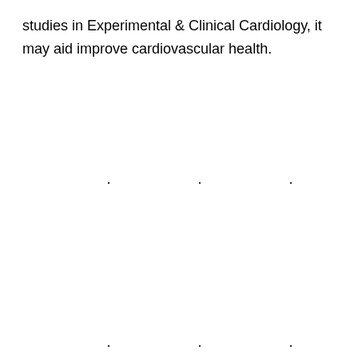studies in Experimental & Clinical Cardiology, it may aid improve cardiovascular health.
· · ·
· · ·